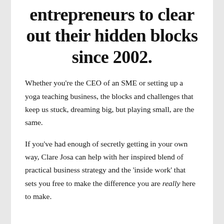entrepreneurs to clear out their hidden blocks since 2002.
Whether you're the CEO of an SME or setting up a yoga teaching business, the blocks and challenges that keep us stuck, dreaming big, but playing small, are the same.
If you've had enough of secretly getting in your own way, Clare Josa can help with her inspired blend of practical business strategy and the 'inside work' that sets you free to make the difference you are really here to make.